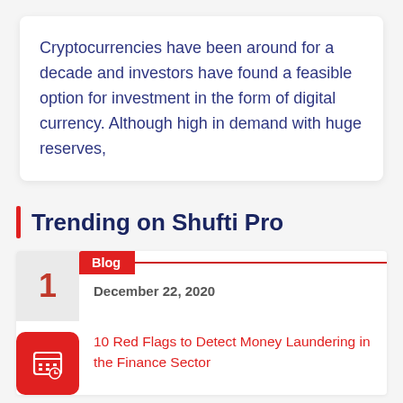Cryptocurrencies have been around for a decade and investors have found a feasible option for investment in the form of digital currency. Although high in demand with huge reserves,
Trending on Shufti Pro
Blog
December 22, 2020
10 Red Flags to Detect Money Laundering in the Finance Sector